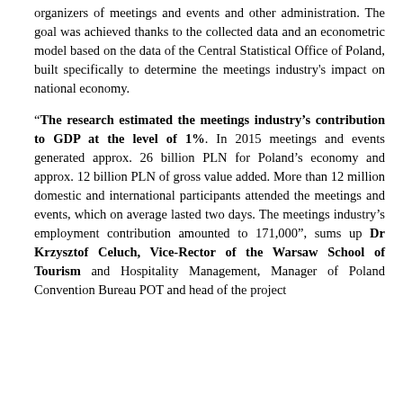organizers of meetings and events and other administration. The goal was achieved thanks to the collected data and an econometric model based on the data of the Central Statistical Office of Poland, built specifically to determine the meetings industry's impact on national economy.
“The research estimated the meetings industry’s contribution to GDP at the level of 1%. In 2015 meetings and events generated approx. 26 billion PLN for Poland’s economy and approx. 12 billion PLN of gross value added. More than 12 million domestic and international participants attended the meetings and events, which on average lasted two days. The meetings industry’s employment contribution amounted to 171,000”, sums up Dr Krzysztof Celuch, Vice-Rector of the Warsaw School of Tourism and Hospitality Management, Manager of Poland Convention Bureau POT and head of the project